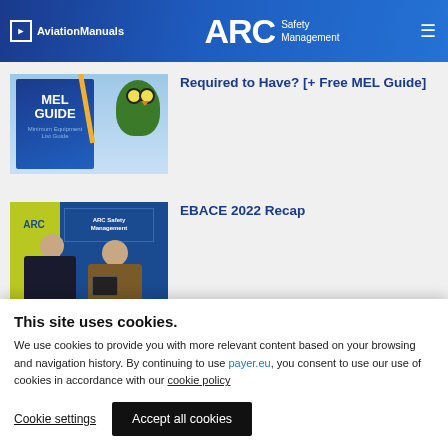AviationManuals | ARC Safety Management
[Figure (photo): MEL Guide book cover with owl illustration on blue background]
Required to Have? [+ Free MEL Guide]
[Figure (photo): Two men standing at ARC Safety Management booth at EBACE 2022 conference]
EBACE 2022 Recap
This site uses cookies. We use cookies to provide you with more relevant content based on your browsing and navigation history. By continuing to use payer.eu, you consent to use our use of cookies in accordance with our cookie policy
Cookie settings | Accept all cookies